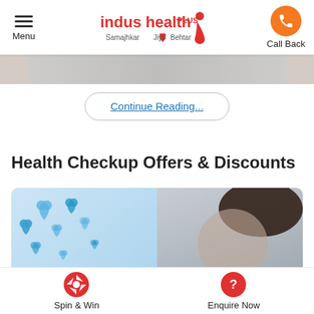Menu | indus health PLUS Samajhkar Jiyo Behtar | Call Back
[Figure (photo): Cropped hero/banner image strip at top of page]
Continue Reading...
Health Checkup Offers & Discounts
[Figure (photo): Promotional image with blue hearts floating on light background on left, and partial view of person's head/hair on right]
Spin & Win | Enquire Now